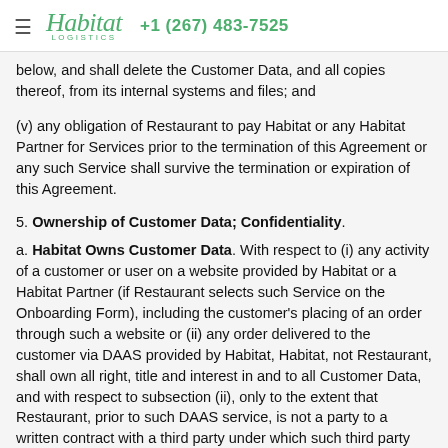Habitat Logistics  +1 (267) 483-7525
below, and shall delete the Customer Data, and all copies thereof, from its internal systems and files; and
(v) any obligation of Restaurant to pay Habitat or any Habitat Partner for Services prior to the termination of this Agreement or any such Service shall survive the termination or expiration of this Agreement.
5. Ownership of Customer Data; Confidentiality.
a. Habitat Owns Customer Data. With respect to (i) any activity of a customer or user on a website provided by Habitat or a Habitat Partner (if Restaurant selects such Service on the Onboarding Form), including the customer's placing of an order through such a website or (ii) any order delivered to the customer via DAAS provided by Habitat, Habitat, not Restaurant, shall own all right, title and interest in and to all Customer Data, and with respect to subsection (ii), only to the extent that Restaurant, prior to such DAAS service, is not a party to a written contract with a third party under which such third party owns such Customer Data.